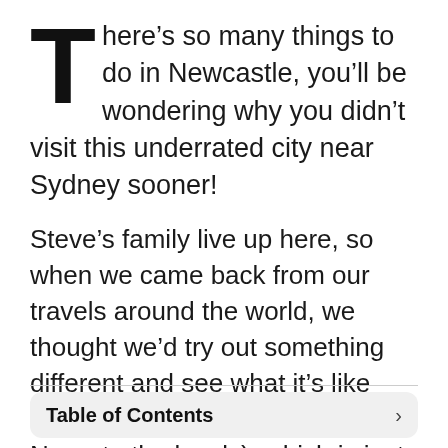There’s so many things to do in Newcastle, you’ll be wondering why you didn’t visit this underrated city near Sydney sooner!
Steve’s family live up here, so when we came back from our travels around the world, we thought we’d try out something different and see what it’s like living in Newcastle (or known as Newy to the locals), which is just a two hour drive from Sydney.
Table of Contents